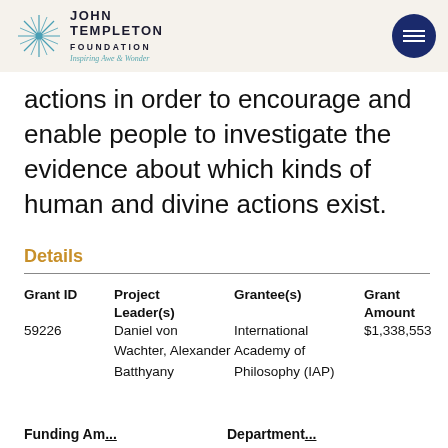John Templeton Foundation – Inspiring Awe & Wonder
actions in order to encourage and enable people to investigate the evidence about which kinds of human and divine actions exist.
Details
| Grant ID | Project Leader(s) | Grantee(s) | Grant Amount |
| --- | --- | --- | --- |
| 59226 | Daniel von Wachter, Alexander Batthyany | International Academy of Philosophy (IAP) | $1,338,553 |
Funding Am... Department...